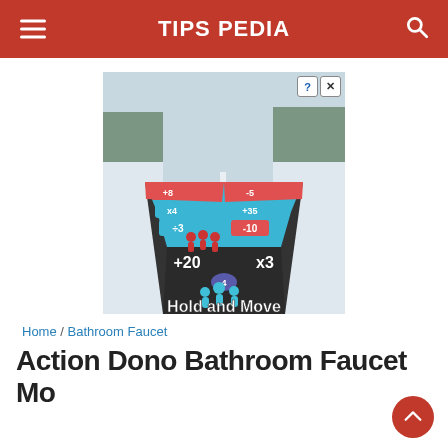TIPS PEDIA
[Figure (screenshot): Screenshot of a mobile game called 'Hold and Move' showing 3D characters on a road with arithmetic operators (+20, x3, +4, +35, div3, -10, +8, -5) on colored lane sections. Blue player characters visible at bottom, red opponent characters in middle. Game title 'Hold and Move' shown in bold white text at bottom.]
Home / Bathroom Faucet
Action Dono Bathroom Faucet Mo...